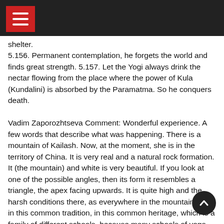≡
shelter.
5.156. Permanent contemplation, he forgets the world and finds great strength. 5.157. Let the Yogi always drink the nectar flowing from the place where the power of Kula (Kundalini) is absorbed by the Paramatma. So he conquers death.

Vadim Zaporozhtseva Comment: Wonderful experience. A few words that describe what was happening. There is a mountain of Kailash. Now, at the moment, she is in the territory of China. It is very real and a natural rock formation. It (the mountain) and white is very beautiful. If you look at one of the possible angles, then its form it resembles a triangle, the apex facing upwards. It is quite high and the harsh conditions there, as everywhere in the mountains. And in this common tradition, in this common heritage, which is a family of different schools, because many schools of yoga, and they constitute, as it were such a family, this mountain is considered the most sacred, it is believed that Shiva resides on it. And to make a pilgrimage to is considered a great success or great feat, achievement fo yogi. It is believed that if a person even for a second to see Mount Kailash, all negative karmic tendencies of his mind, all the negative karma and all the prints get a positive push that outweighs the negative.